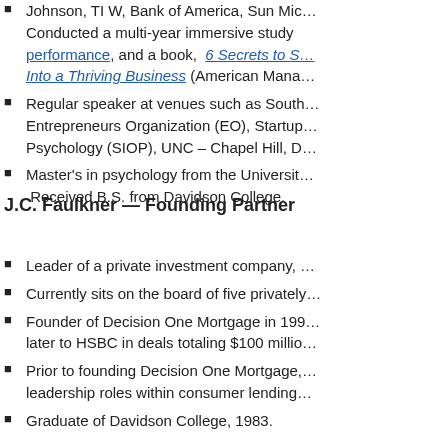Conducted a multi-year immersive study … performance, and a book, 6 Secrets to S… Into a Thriving Business (American Mana…
Regular speaker at venues such as South… Entrepreneurs Organization (EO), Startup… Psychology (SIOP), UNC – Chapel Hill, D…
Master's in psychology from the Universit… Received B.S. from Davidson College.
J.C. Faulkner — Founding Partner
Leader of a private investment company,…
Currently sits on the board of five privately…
Founder of Decision One Mortgage in 199… later to HSBC in deals totaling $100 millio…
Prior to founding Decision One Mortgage,… leadership roles within consumer lending…
Graduate of Davidson College, 1983.